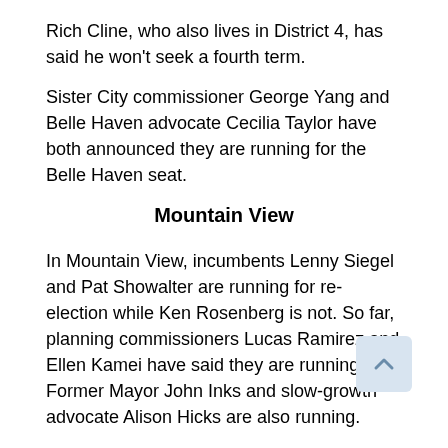Rich Cline, who also lives in District 4, has said he won't seek a fourth term.
Sister City commissioner George Yang and Belle Haven advocate Cecilia Taylor have both announced they are running for the Belle Haven seat.
Mountain View
In Mountain View, incumbents Lenny Siegel and Pat Showalter are running for re-election while Ken Rosenberg is not. So far, planning commissioners Lucas Ramirez and Ellen Kamei have said they are running. Former Mayor John Inks and slow-growth advocate Alison Hicks are also running.
Redwood City
Redwood City has a wealth of council candidates, with